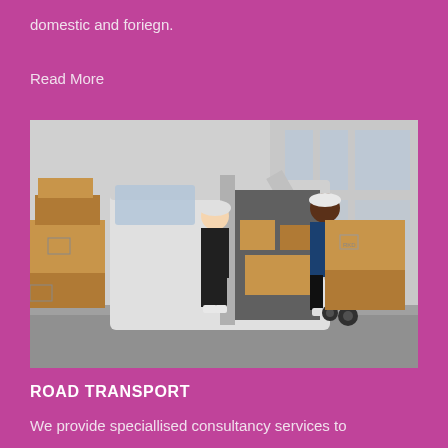domestic and foriegn.
Read More
[Figure (photo): Two delivery workers unloading cardboard boxes from the back of a white van. One worker stands near the open van doors handling boxes inside, while the other uses a hand truck to move large boxes. Multiple stacked boxes are visible on the ground to the left. Background shows an industrial building with large windows.]
ROAD TRANSPORT
We provide speciallised consultancy services to